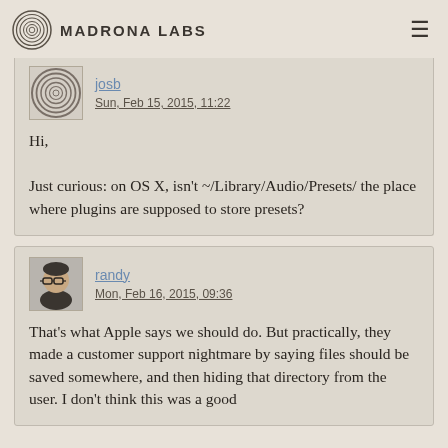Madrona Labs
josb
Sun, Feb 15, 2015, 11:22

Hi,

Just curious: on OS X, isn't ~/Library/Audio/Presets/ the place where plugins are supposed to store presets?
randy
Mon, Feb 16, 2015, 09:36

That's what Apple says we should do. But practically, they made a customer support nightmare by saying files should be saved somewhere, and then hiding that directory from the user. I don't think this was a good